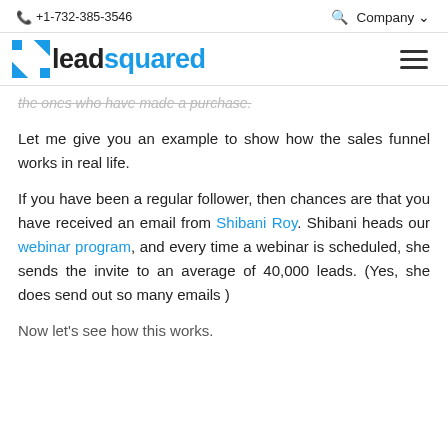+1-732-385-3546   🔍  Company ∨
[Figure (logo): LeadSquared logo with blue square icon and text 'leadsquared' where 'squared' is in blue]
the ones who have made a purchase.
Let me give you an example to show how the sales funnel works in real life.
If you have been a regular follower, then chances are that you have received an email from Shibani Roy. Shibani heads our webinar program, and every time a webinar is scheduled, she sends the invite to an average of 40,000 leads. (Yes, she does send out so many emails )
Now let's see how this works.